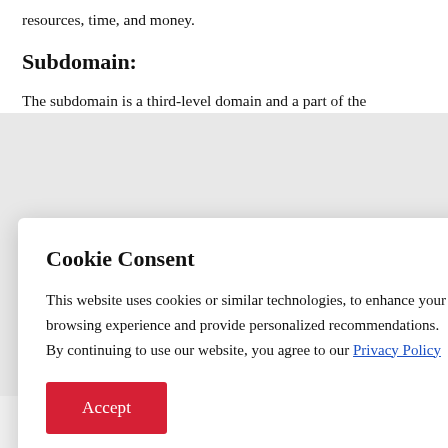resources, time, and money.
Subdomain:
The subdomain is a third-level domain and a part of the
Cookie Consent
This website uses cookies or similar technologies, to enhance your browsing experience and provide personalized recommendations. By continuing to use our website, you agree to our Privacy Policy
Accept